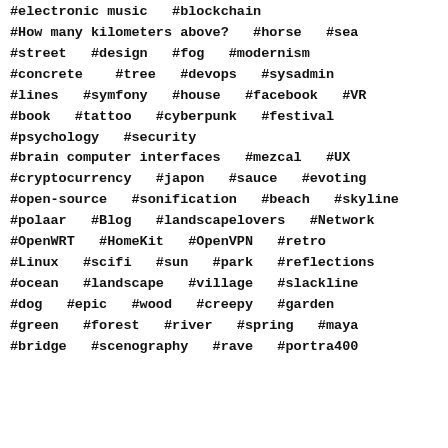#electronic music   #blockchain
#How many kilometers above?   #horse   #sea
#street   #design   #fog   #modernism
#concrete   #tree   #devops   #sysadmin
#lines   #symfony   #house   #facebook   #VR
#book   #tattoo   #cyberpunk   #festival
#psychology   #security
#brain computer interfaces   #mezcal   #UX
#cryptocurrency   #japon   #sauce   #evoting
#open-source   #sonification   #beach   #skyline
#polaar   #Blog   #landscapelovers   #Network
#OpenWRT   #HomeKit   #OpenVPN   #retro
#Linux   #scifi   #sun   #park   #reflections
#ocean   #landscape   #village   #slackline
#dog   #epic   #wood   #creepy   #garden
#green   #forest   #river   #spring   #maya
#bridge   #scenography   #rave   #portra400